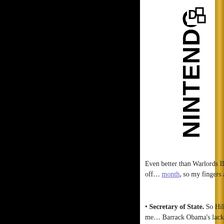[Figure (photo): Partial view of a Nintendo DS game console box. Left half shows a large black area (possibly game box art). Right half shows white background with 'NINTENDO DS' logo in large bold rotated text and a golden/yellow strip on the far right edge of the device or box.]
Even better than Warlords II fo... works? Apparently the spin-off... month, so my fingers are cross...
• Secretary of State. So Hillar... State. This does not make me... Barrack Obama's lack of experi...